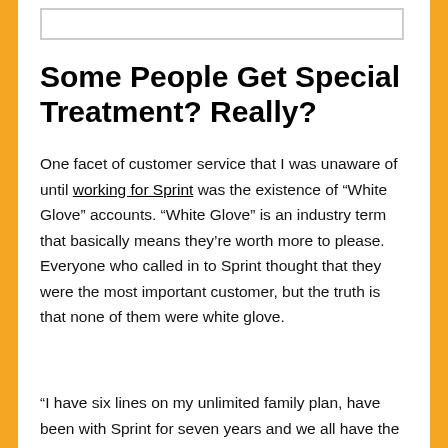[Figure (other): Image placeholder box at top of page]
Some People Get Special Treatment? Really?
One facet of customer service that I was unaware of until working for Sprint was the existence of “White Glove” accounts. “White Glove” is an industry term that basically means they’re worth more to please. Everyone who called in to Sprint thought that they were the most important customer, but the truth is that none of them were white glove.
“I have six lines on my unlimited family plan, have been with Sprint for seven years and we all have the latest upgraded device. You need to take care of me!” Actually, that’s the average account and it doesn’t matter how many personal lines you have, you’re on the